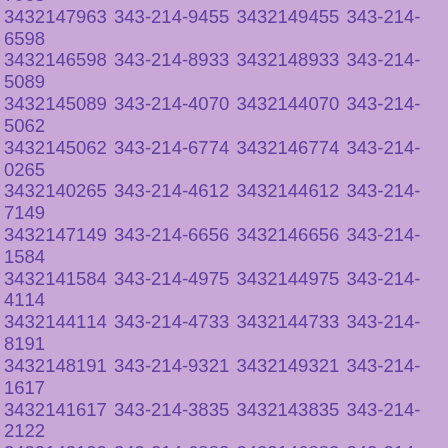3432145731 343-214-1992 3432141992 343-214-2412 3432142412 343-214-6108 3432146108 343-214-0173 3432140173 343-214-1559 3432141559 343-214-1099 3432141099 343-214-4858 3432144858 343-214-0390 3432140390 343-214-9746 3432149746 343-214-7963 3432147963 343-214-9455 3432149455 343-214-6598 3432146598 343-214-8933 3432148933 343-214-5089 3432145089 343-214-4070 3432144070 343-214-5062 3432145062 343-214-6774 3432146774 343-214-0265 3432140265 343-214-4612 3432144612 343-214-7149 3432147149 343-214-6656 3432146656 343-214-1584 3432141584 343-214-4975 3432144975 343-214-4114 3432144114 343-214-4733 3432144733 343-214-8191 3432148191 343-214-9321 3432149321 343-214-1617 3432141617 343-214-3835 3432143835 343-214-2122 3432142122 343-214-6883 3432146883 343-214-0811 3432140811 343-214-0421 3432140421 343-214-7667 3432147667 343-214-7775 3432147775 343-214-0550 3432140550 343-214-3546 3432143546 343-214-6344 3432146344 343-214-6038 3432146038 343-214-8092